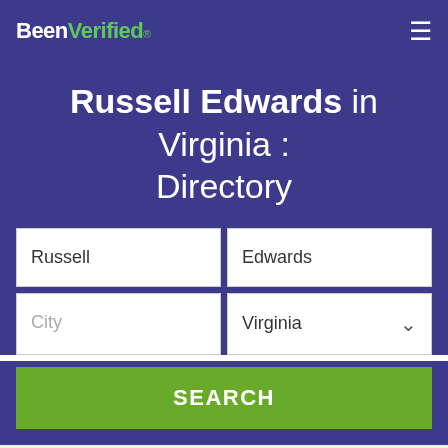BeenVerified.com
Russell Edwards in Virginia : Directory
Russell | Edwards | City | Virginia
SEARCH
25 records in 30 cities for Russell Edwards. The most common city of residence is Portsmouth, followed by Suffolk. The